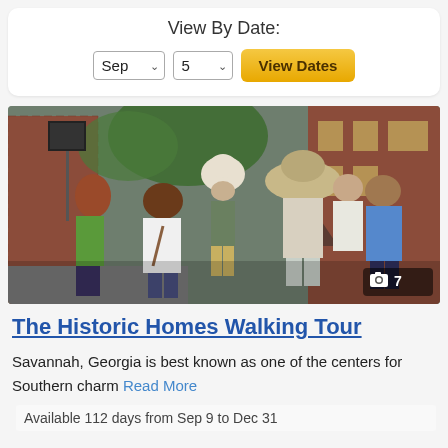View By Date:
[Figure (screenshot): Date selector UI with Sep dropdown, 5 dropdown, and View Dates button]
[Figure (photo): Group of tourists on a walking tour in Savannah Georgia with a guide in a white hat, brick buildings in background. Photo count badge showing camera icon and 7.]
The Historic Homes Walking Tour
Savannah, Georgia is best known as one of the centers for Southern charm Read More
Available 112 days from Sep 9 to Dec 31